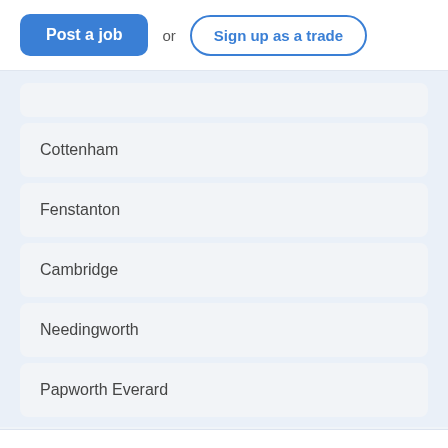[Figure (screenshot): Header with 'Post a job' blue button and 'Sign up as a trade' outlined button]
Cottenham
Fenstanton
Cambridge
Needingworth
Papworth Everard
OTHER TRADES